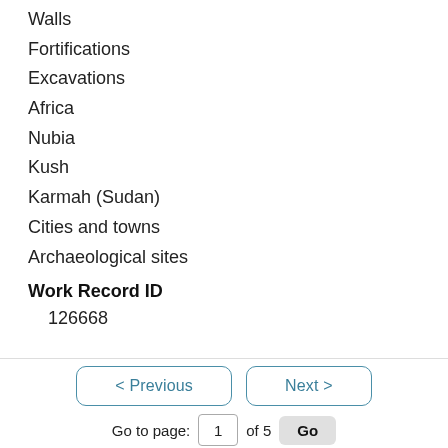Walls
Fortifications
Excavations
Africa
Nubia
Kush
Karmah (Sudan)
Cities and towns
Archaeological sites
Work Record ID
126668
< Previous   Next >
Go to page: 1 of 5 Go